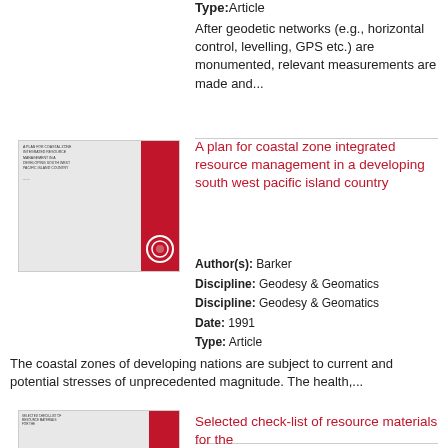Type: Article
After geodetic networks (e.g., horizontal control, levelling, GPS etc.) are monumented, relevant measurements are made and...
[Figure (other): Thumbnail of a document cover with red spine and circular seal]
A plan for coastal zone integrated resource management in a developing south west pacific island country
Author(s): Barker
Discipline: Geodesy & Geomatics
Discipline: Geodesy & Geomatics
Date: 1991
Type: Article
The coastal zones of developing nations are subject to current and potential stresses of unprecedented magnitude. The health,...
[Figure (other): Thumbnail of a document cover with red spine]
Selected check-list of resource materials for the